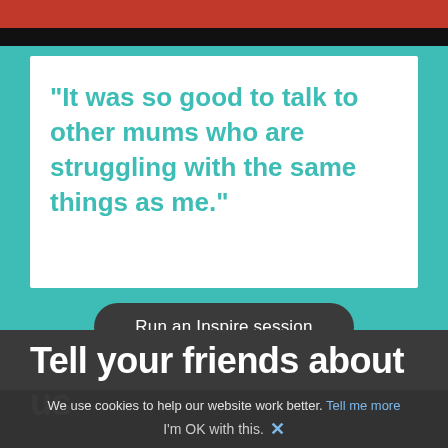[Figure (screenshot): Red bar at top of page, followed by black bar, forming header decoration on teal background]
"It was so good to talk to other mums who are struggling with the same things as me."
Run an Inspire session
Tell your friends about us
We use cookies to help our website work better. Tell me more
I'm OK with this. ×